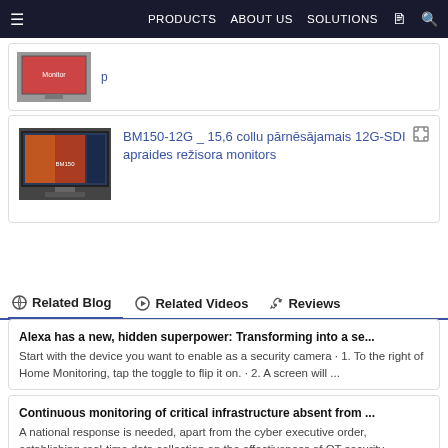PRODUCTS  ABOUT US  SOLUTIONS
[Figure (photo): Partially visible product card with a monitor thumbnail image]
[Figure (photo): BM150-12G broadcast monitor product card with monitor image]
BM150-12G _ 15,6 collu pārnēsājamais 12G-SDI apraides režisora monitors
Related Blog  Related Videos  Reviews
Alexa has a new, hidden superpower: Transforming into a se...
Start with the device you want to enable as a security camera · 1. To the right of Home Monitoring, tap the toggle to flip it on. · 2. A screen will ...
Continuous monitoring of critical infrastructure absent from ...
A national response is needed, apart from the cyber executive order, establishing real-time data collection on the effectiveness of OT security ...